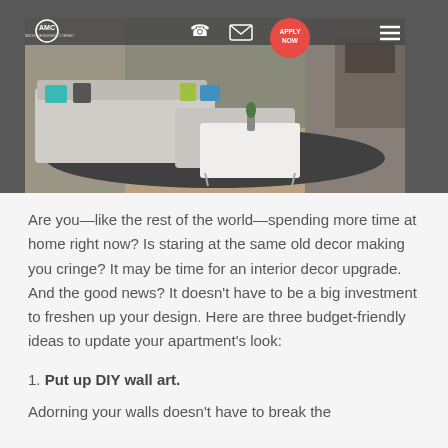[Figure (photo): Interior living room photo showing a modern sectional sofa with teal and colorful pillows, a white coffee table on a dark rug, with AMC Advanced Management Company logo, phone icon, email icon, Apply Now button, and hamburger menu overlaid on the image.]
Are you—like the rest of the world—spending more time at home right now? Is staring at the same old decor making you cringe? It may be time for an interior decor upgrade. And the good news? It doesn't have to be a big investment to freshen up your design. Here are three budget-friendly ideas to update your apartment's look:
1. Put up DIY wall art.
Adorning your walls doesn't have to break the